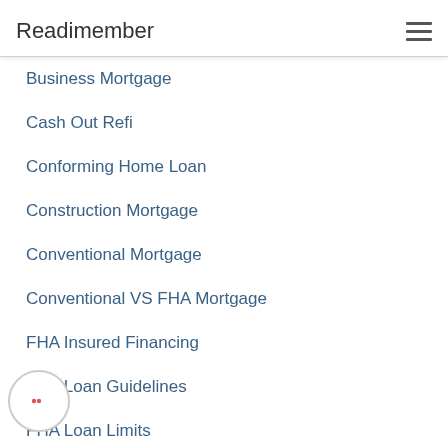Readimember
Business Mortgage
Cash Out Refi
Conforming Home Loan
Construction Mortgage
Conventional Mortgage
Conventional VS FHA Mortgage
FHA Insured Financing
FHA Loan Guidelines
FHA Loan Limits
FHA Mortgages